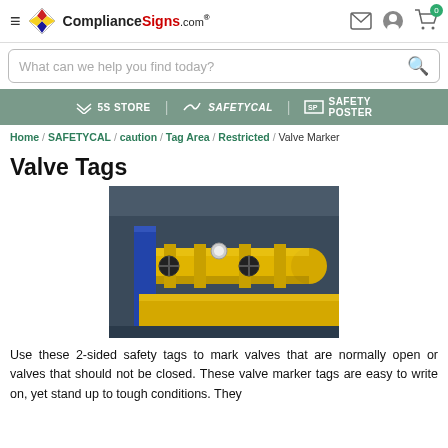ComplianceSigns.com
What can we help you find today?
5S STORE | SAFETYCAL | SAFETY POSTER
Home / SAFETYCAL / caution / Tag Area / Restricted / Valve Marker
Valve Tags
[Figure (photo): Industrial yellow pipes and valves in a facility]
Use these 2-sided safety tags to mark valves that are normally open or valves that should not be closed. These valve marker tags are easy to write on, yet stand up to tough conditions. They